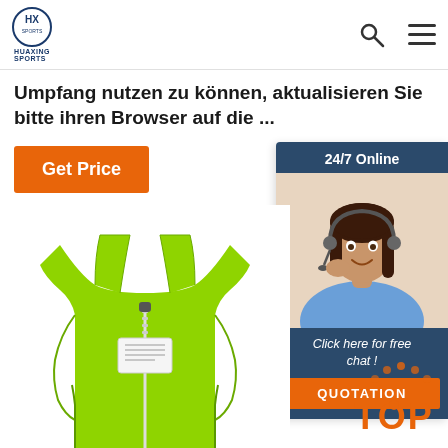HUAXING SPORTS
Umpfang nutzen zu können, aktualisieren Sie bitte ihren Browser auf die ...
[Figure (other): Orange 'Get Price' button]
[Figure (other): 24/7 Online chat widget with customer service representative photo, 'Click here for free chat!' text, and orange QUOTATION button]
[Figure (photo): Green neoprene sauna vest/waist trainer with zipper, shown from front on white background]
[Figure (other): Orange and red 'TOP' back-to-top button with dotted arc above]